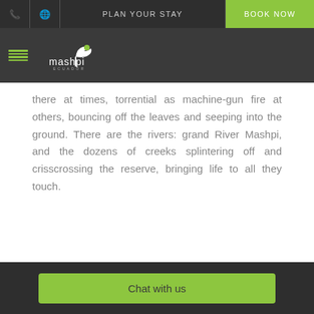PLAN YOUR STAY | BOOK NOW
[Figure (logo): Mashpi Ecuador logo with bird silhouette and hamburger menu icon on dark background]
there at times, torrential as machine-gun fire at others, bouncing off the leaves and seeping into the ground. There are the rivers: grand River Mashpi, and the dozens of creeks splintering off and crisscrossing the reserve, bringing life to all they touch.
Chat with us